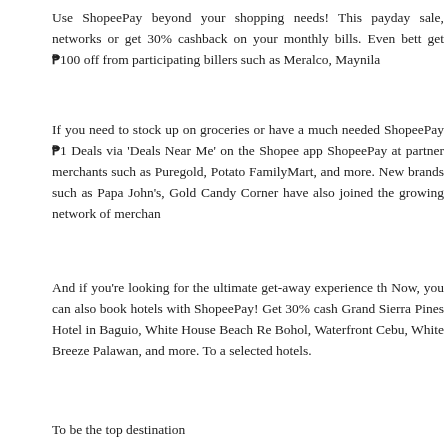Use ShopeePay beyond your shopping needs! This payday sale, networks or get 30% cashback on your monthly bills. Even bett get ₱100 off from participating billers such as Meralco, Maynila
If you need to stock up on groceries or have a much needed ShopeePay ₱1 Deals via 'Deals Near Me' on the Shopee app ShopeePay at partner merchants such as Puregold, Potato FamilyMart, and more. New brands such as Papa John's, Gold Candy Corner have also joined the growing network of merchants.
And if you're looking for the ultimate get-away experience th Now, you can also book hotels with ShopeePay! Get 30% cash Grand Sierra Pines Hotel in Baguio, White House Beach Re Bohol, Waterfront Cebu, White Breeze Palawan, and more. To a selected hotels.
To be the top destination...